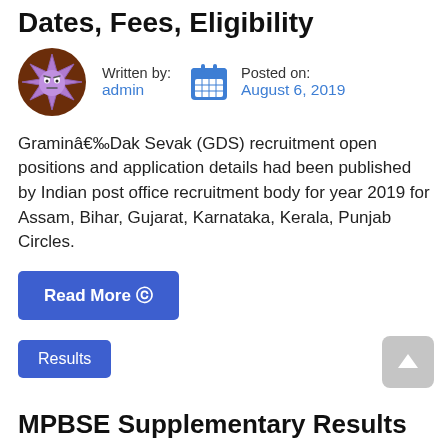Dates, Fees, Eligibility
[Figure (illustration): Avatar icon of a purple star-shaped monster on a brown circular background]
Written by: admin
Posted on: August 6, 2019
Graminâ€‰Dak Sevak (GDS) recruitment open positions and application details had been published by Indian post office recruitment body for year 2019 for Assam, Bihar, Gujarat, Karnataka, Kerala, Punjab Circles.
Read More ⊙
Results
MPBSE Supplementary Results